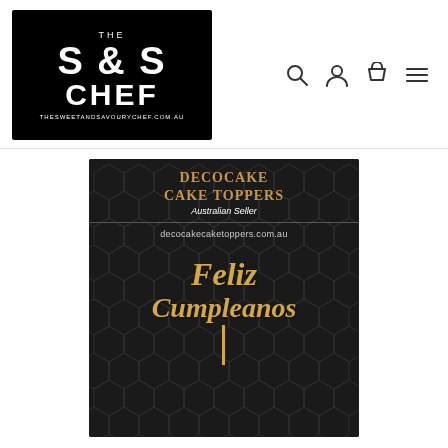[Figure (logo): The S&S Chef logo — black background with white bold text reading THE S&S CHEF, small text THESWEETANDSAVOURYCHEF.COM.AU]
[Figure (other): Navigation icons: search magnifier, user/person icon, shopping bag/cart icon, hamburger menu icon]
[Figure (photo): Decocake Cake Toppers product image on dark hexagonal background showing a gold 'Feliz Cumpleanos' cake topper with stick, branded with Decocake Cake Toppers Australian Seller and decocakecaketoppers.com.au]